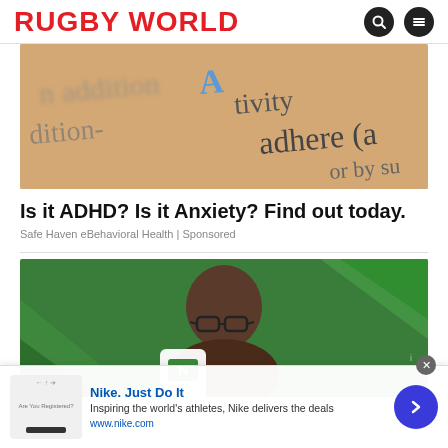RUGBY WORLD
[Figure (photo): Close-up of a dictionary page showing words including 'addition', 'adhere', 'activity' in blurred background — advertisement image for ADHD/mental health service]
Is it ADHD? Is it Anxiety? Find out today.
Safe Haven eBehavioral Health | Sponsored
[Figure (photo): Man wearing glasses against a green background with geometric shapes, holding or near a phone — advertisement image for a financial or health app]
[Figure (infographic): Bottom advertisement banner: Nike. Just Do It — Inspiring the world's athletes, Nike delivers the deals — www.nike.com]